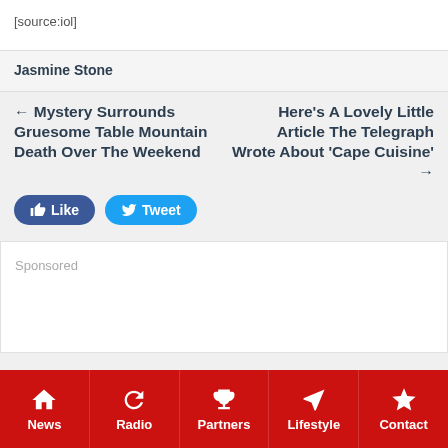[source:iol]
Jasmine Stone
← Mystery Surrounds Gruesome Table Mountain Death Over The Weekend
Here's A Lovely Little Article The Telegraph Wrote About 'Cape Cuisine' →
Sponsored
News  Radio  Partners  Lifestyle  Contact